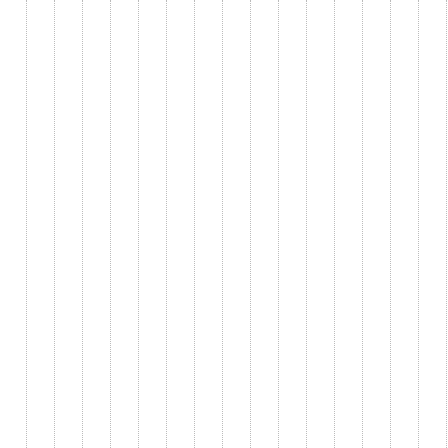was located in his apartment. At specified times he went shopping at the markets (basics like rice, some fish ...). All of his guests were impressed by this expression of solidarity
Harassment
I did not experience any harassment. Of course we had to be careful. The guards at the gates could see us coming and going. Going to the US Embassy PX where I would sometimes buy food, one could also see the ravages of alcoholism quite plain
Types of ministry
My ministry was providing daily Mass in the chapel either in French, Spanish or English.
Most rewarding aspect of my stay
Russia, especially "Holy Russia," has intrigued me for the last fifteen years. So this stay in Moscow... visits to the Moscow museums and chure
Conclusion
At the end of this brief overview of the fin... highlighted:
1. Whether at Saint Louis Church... Chaplaincy was the religious c... shared a belief in God, his Son... by Christ's message of love, k...
Given this bond of faith, those who frequ... strength they needed to face the non-bel...